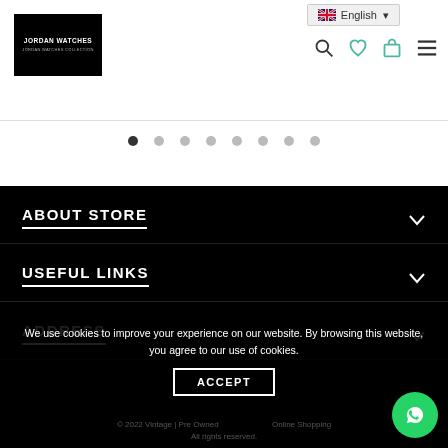[Figure (logo): Jordan Watches logo — white text on black background]
English
[Figure (other): Carousel pagination dots — 8 dots, first one filled/active]
ABOUT STORE
USEFUL LINKS
ADDRESS
We use cookies to improve your experience on our website. By browsing this website, you agree to our use of cookies.
ACCEPT
© 2022 Vintage | Pre Owned Online Shopping All rights reserved.
[Figure (other): WhatsApp chat button — green circle with phone icon]